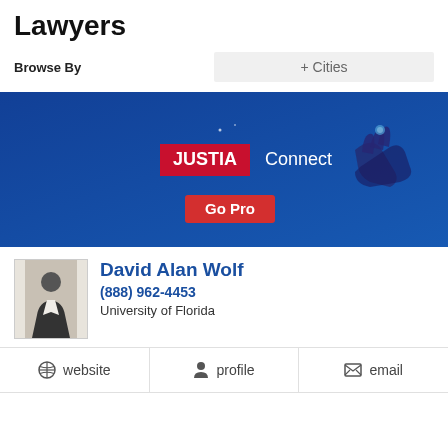Lawyers
Browse By
+ Cities
[Figure (other): JUSTIA Connect Go Pro advertisement banner with blue background and hand pointing graphic]
David Alan Wolf
(888) 962-4453
University of Florida
website   profile   email